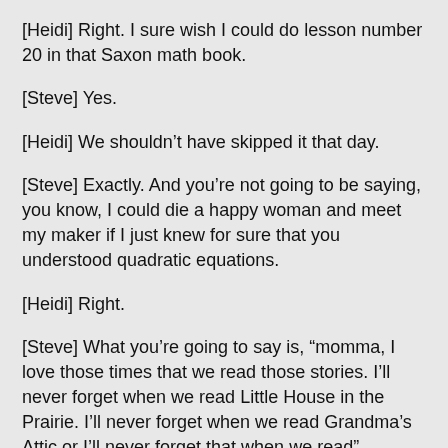[Heidi] Right. I sure wish I could do lesson number 20 in that Saxon math book.
[Steve] Yes.
[Heidi] We shouldn't have skipped it that day.
[Steve] Exactly. And you're not going to be saying, you know, I could die a happy woman and meet my maker if I just knew for sure that you understood quadratic equations.
[Heidi] Right.
[Steve] What you're going to say is, “momma, I love those times that we read those stories. I’ll never forget when we read Little House in the Prairie. I’ll never forget when we read Grandma’s Attic or I’ll never forget that when we read” whatever. And those are the memories that